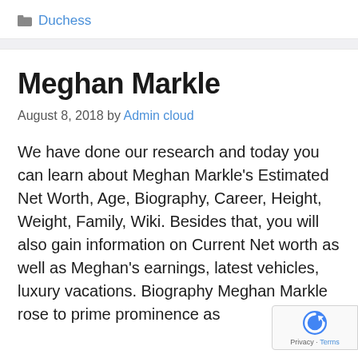Duchess
Meghan Markle
August 8, 2018 by Admin cloud
We have done our research and today you can learn about Meghan Markle's Estimated Net Worth, Age, Biography, Career, Height, Weight, Family, Wiki. Besides that, you will also gain information on Current Net worth as well as Meghan's earnings, latest vehicles, luxury vacations. Biography Meghan Markle rose to prime prominence as